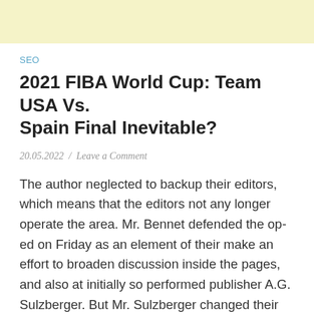SEO
2021 FIBA World Cup: Team USA Vs. Spain Final Inevitable?
20.05.2022 / Leave a Comment
The author neglected to backup their editors, which means that the editors not any longer operate the area. Mr. Bennet defended the op-ed on Friday as an element of their make an effort to broaden discussion inside the pages, and also at initially so performed publisher A.G. Sulzberger. But Mr. Sulzberger changed their brain the same day, instantly declaring that the op-ed he had defended had not received proper editing and should not have been published. These were entitled to have a glass or two and enjoy what they had